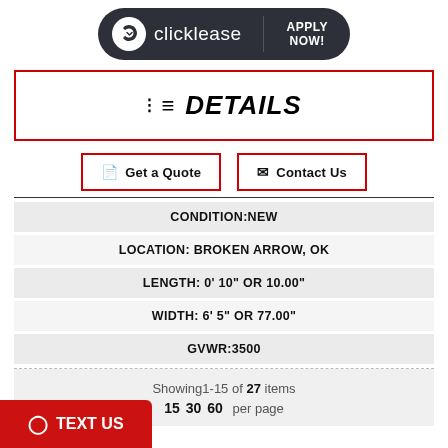[Figure (logo): Clicklease logo with 'APPLY NOW!' text on dark rounded banner]
≡ DETAILS
Get a Quote
Contact Us
CONDITION:NEW
LOCATION: BROKEN ARROW, OK
LENGTH: 0' 10" OR 10.00"
WIDTH: 6' 5" OR 77.00"
GVWR:3500
Showing1-15 of 27 items
15  30  60  per page
⓪ TEXT US